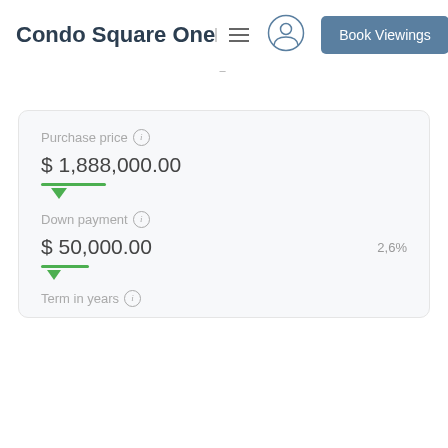Condo Square One
Book Viewings
Purchase price
$ 1,888,000.00
Down payment
$ 50,000.00
2,6%
Term in years